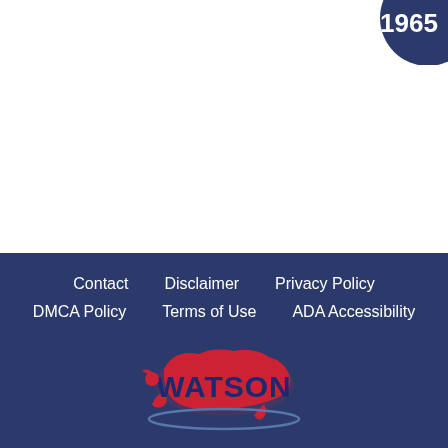[Figure (logo): Dark navy blue circle badge with '1965' in white bold text, partially cropped at top-right corner of page]
Contact   Disclaimer   Privacy Policy   DMCA Policy   Terms of Use   ADA Accessibility
[Figure (logo): Watson logo: red eagle/map outline of USA with WATSON text in blue bold stylized font, with blue ellipse swoosh underneath]